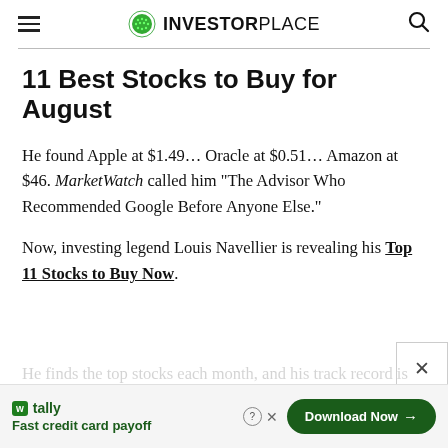INVESTORPLACE
11 Best Stocks to Buy for August
He found Apple at $1.49… Oracle at $0.51… Amazon at $46. MarketWatch called him “The Advisor Who Recommended Google Before Anyone Else.”
Now, investing legend Louis Navellier is revealing his Top 11 Stocks to Buy Now.
[Figure (other): Advertisement banner: Tally app - Fast credit card payoff, Download Now button]